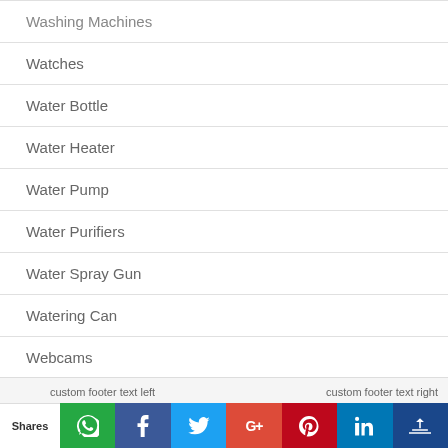Washing Machines
Watches
Water Bottle
Water Heater
Water Pump
Water Purifiers
Water Spray Gun
Watering Can
Webcams
Weighing Scale
Women's Boot
custom footer text left    custom footer text right